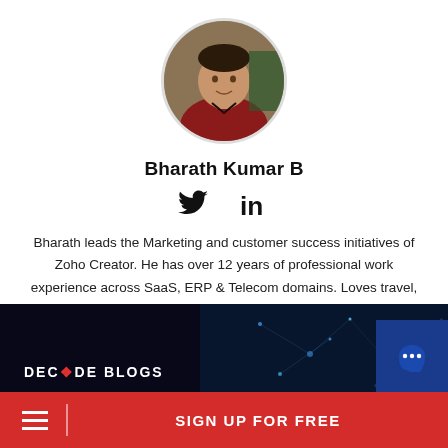[Figure (photo): Circular profile photo of Bharath Kumar B, a man in a red shirt]
Bharath Kumar B
[Figure (other): Twitter and LinkedIn social media icons]
Bharath leads the Marketing and customer success initiatives of Zoho Creator. He has over 12 years of professional work experience across SaaS, ERP & Telecom domains. Loves travel, playing badminton and yoga. He believes in keeping things simple.
You may also like
[Figure (other): DECODE BLOGS banner with dark background and blue tech imagery]
SIGN UP FOR FREE